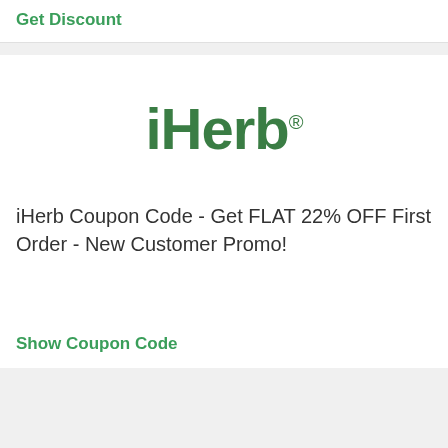Get Discount
[Figure (logo): iHerb logo — stylized lowercase 'iHerb' text with registered trademark symbol in dark green]
iHerb Coupon Code - Get FLAT 22% OFF First Order - New Customer Promo!
Show Coupon Code